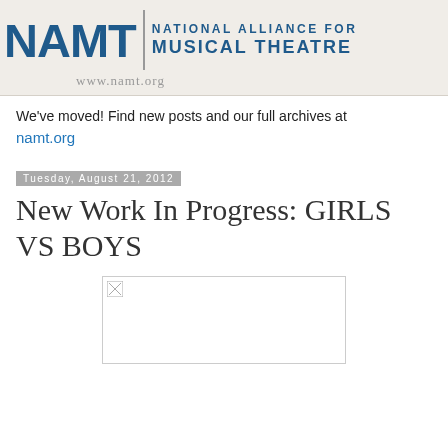[Figure (logo): NAMT National Alliance for Musical Theatre logo with website www.namt.org on beige background]
We've moved! Find new posts and our full archives at namt.org
Tuesday, August 21, 2012
New Work In Progress: GIRLS VS BOYS
[Figure (photo): Image placeholder (broken image icon visible, image failed to load)]